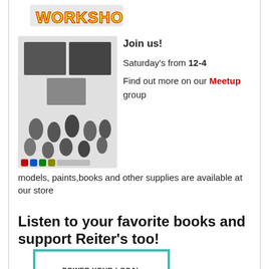[Figure (logo): Games Workshop logo with yellow and red stylized text on white background]
[Figure (photo): Warhammer miniatures, game boxes, paints and accessories displayed together]
Join us!
Saturday's from 12-4
Find out more on our Meetup group
models, paints,books and other supplies are available at our store
Listen to your favorite books and support Reiter's too!
[Figure (other): Teal bordered box with text: POWER YOUR LOCAL BOOKSTORE WITH AUDIOBOOKS]